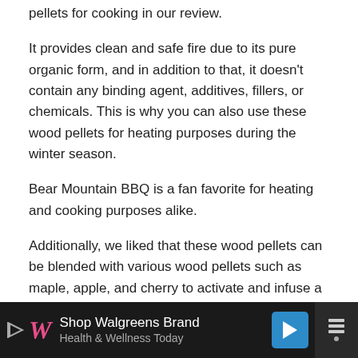pellets for cooking in our review.
It provides clean and safe fire due to its pure organic form, and in addition to that, it doesn't contain any binding agent, additives, fillers, or chemicals. This is why you can also use these wood pellets for heating purposes during the winter season.
Bear Mountain BBQ is a fan favorite for heating and cooking purposes alike.
Additionally, we liked that these wood pellets can be blended with various wood pellets such as maple, apple, and cherry to activate and infuse a sugary taste to the flavor.
You can also use these premium quality wood pellets to enhance the tenderness of lamb, beef, vegetables, and sea...
[Figure (other): Advertisement banner for Walgreens Brand Health & Wellness Today with Walgreens logo, navigation arrow icon, and menu icon on dark background]